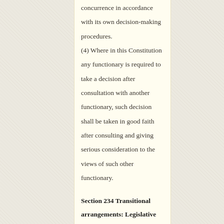concurrence in accordance with its own decision-making procedures.
(4) Where in this Constitution any functionary is required to take a decision after consultation with another functionary, such decision shall be taken in good faith after consulting and giving serious consideration to the views of such other functionary.
Section 234 Transitional arrangements: Legislative authorities